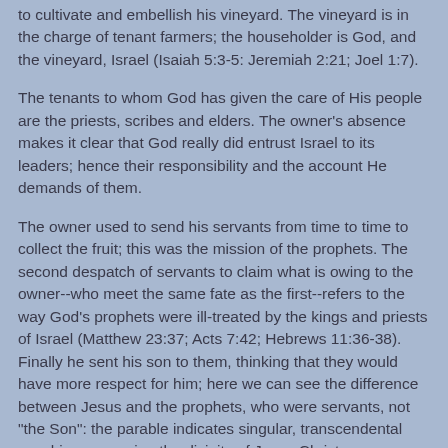to cultivate and embellish his vineyard. The vineyard is in the charge of tenant farmers; the householder is God, and the vineyard, Israel (Isaiah 5:3-5: Jeremiah 2:21; Joel 1:7).
The tenants to whom God has given the care of His people are the priests, scribes and elders. The owner's absence makes it clear that God really did entrust Israel to its leaders; hence their responsibility and the account He demands of them.
The owner used to send his servants from time to time to collect the fruit; this was the mission of the prophets. The second despatch of servants to claim what is owing to the owner--who meet the same fate as the first--refers to the way God's prophets were ill-treated by the kings and priests of Israel (Matthew 23:37; Acts 7:42; Hebrews 11:36-38). Finally he sent his son to them, thinking that they would have more respect for him; here we can see the difference between Jesus and the prophets, who were servants, not "the Son": the parable indicates singular, transcendental sonship, expressing the divinity of Jesus Christ.
The malicious purpose of the tenants in murdering the son